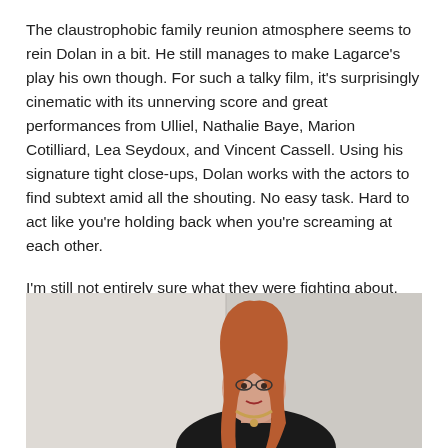The claustrophobic family reunion atmosphere seems to rein Dolan in a bit. He still manages to make Lagarce's play his own though. For such a talky film, it's surprisingly cinematic with its unnerving score and great performances from Ulliel, Nathalie Baye, Marion Cotilliard, Lea Seydoux, and Vincent Cassell. Using his signature tight close-ups, Dolan works with the actors to find subtext amid all the shouting. No easy task. Hard to act like you're holding back when you're screaming at each other.
I'm still not entirely sure what they were fighting about. But the story feels real and profoundly sad.
[Figure (photo): A woman with long red hair wearing a black top and necklace, photographed in a light-colored interior setting, looking to the side.]